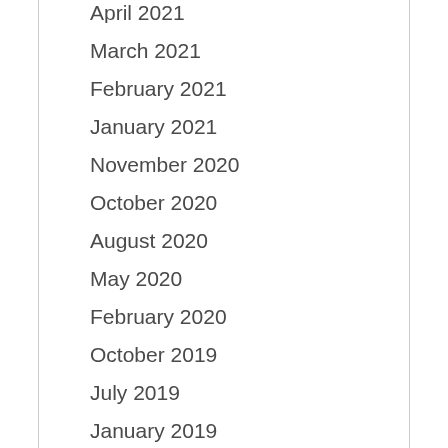April 2021
March 2021
February 2021
January 2021
November 2020
October 2020
August 2020
May 2020
February 2020
October 2019
July 2019
January 2019
March 2017